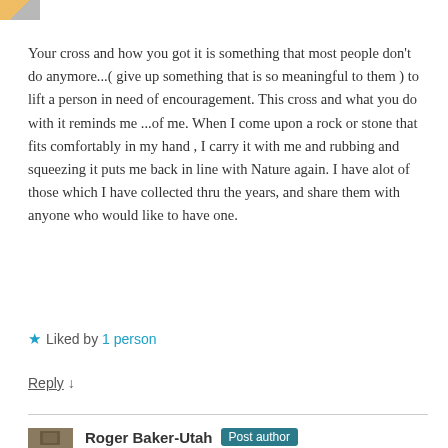Your cross and how you got it is something that most people don't do anymore...( give up something that is so meaningful to them ) to lift a person in need of encouragement. This cross and what you do with it reminds me ...of me. When I come upon a rock or stone that fits comfortably in my hand , I carry it with me and rubbing and squeezing it puts me back in line with Nature again. I have alot of those which I have collected thru the years, and share them with anyone who would like to have one.
★ Liked by 1 person
Reply ↓
Roger Baker-Utah  Post author
January 7, 2016 at 9:33 AM